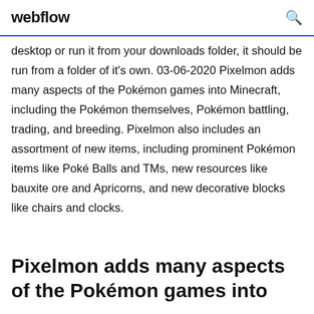webflow
desktop or run it from your downloads folder, it should be run from a folder of it's own. 03-06-2020 Pixelmon adds many aspects of the Pokémon games into Minecraft, including the Pokémon themselves, Pokémon battling, trading, and breeding. Pixelmon also includes an assortment of new items, including prominent Pokémon items like Poké Balls and TMs, new resources like bauxite ore and Apricorns, and new decorative blocks like chairs and clocks.
Pixelmon adds many aspects of the Pokémon games into